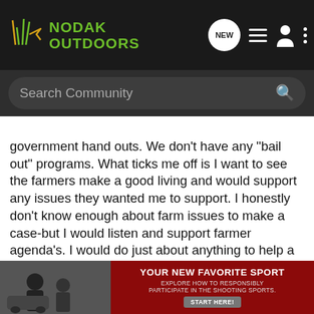NODAK OUTDOORS — Search Community navigation bar
government hand outs. We don't have any "bail out" programs. What ticks me off is I want to see the farmers make a good living and would support any issues they wanted me to support. I honestly don't know enough about farm issues to make a case-but I would listen and support farmer agenda's. I would do just about anything to help a farmer who needed it! But you landowners need to understand who your friends are! On one hand they want us to support their voice and vote for people that have strong agricultural ties and might help pass a decent Farm Bill (some year)- but on the other hand they say your a resident with a small checkbook so stay the hell off my land! I have friends that are family farmers and I do have access through that channel- and I want to see legislation passed that will bene being told "NO JOLLY
[Figure (screenshot): Advertisement banner: YOUR NEW FAVORITE SPORT — EXPLORE HOW TO RESPONSIBLY PARTICIPATE IN THE SHOOTING SPORTS. START HERE!]